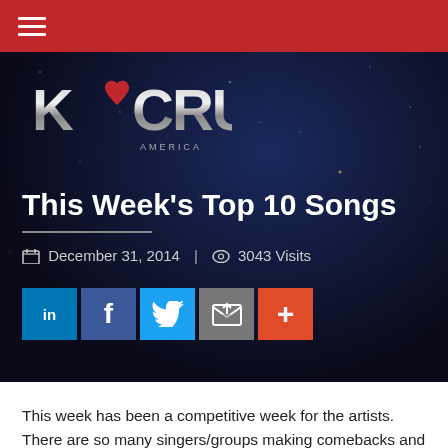Navigation bar with hamburger menu
[Figure (logo): K-Crush America logo with heart shape replacing the letter O in CRUSH, metallic silver text on dark background]
This Week’s Top 10 Songs
December 31, 2014 | 3043 Visits
[Figure (infographic): Social sharing buttons: LinkedIn (blue), Facebook (blue), Twitter (light blue), Email (gray), More/Plus (orange-red)]
This week has been a competitive week for the artists. There are so many singers/groups making comebacks and the rankings on the chart have been on and off.